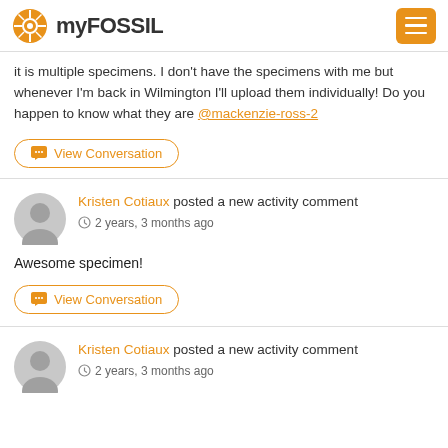myFOSSIL
it is multiple specimens. I don't have the specimens with me but whenever I'm back in Wilmington I'll upload them individually! Do you happen to know what they are @mackenzie-ross-2
View Conversation
Kristen Cotiaux posted a new activity comment
2 years, 3 months ago
Awesome specimen!
View Conversation
Kristen Cotiaux posted a new activity comment
2 years, 3 months ago